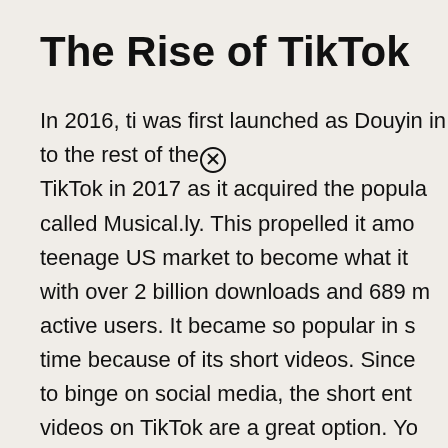The Rise of TikTok
In 2016, ti was first launched as Douyin in China but later was introduced to the rest of the [x] TikTok in 2017 as it acquired the popular app called Musical.ly. This propelled it among the teenage US market to become what it is today, with over 2 billion downloads and 689 million active users. It became so popular in such a short time because of its short videos. Since people love to binge on social media, the short entertainment videos on TikTok are a great option. You can scroll through so much interesting content in a very short space of time. You can find content from everyday people, celebrities, and influencers that covers almost every kind of taste in content.